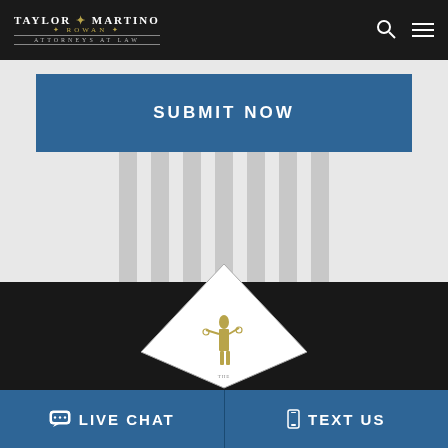TAYLOR MARTINO ROWAN ATTORNEYS AT LAW
SUBMIT NOW
[Figure (screenshot): Background courthouse columns image]
[Figure (logo): Taylor Martino Rowan law firm logo with Lady Justice on diamond/triangle shape over dark footer area]
LIVE CHAT
TEXT US